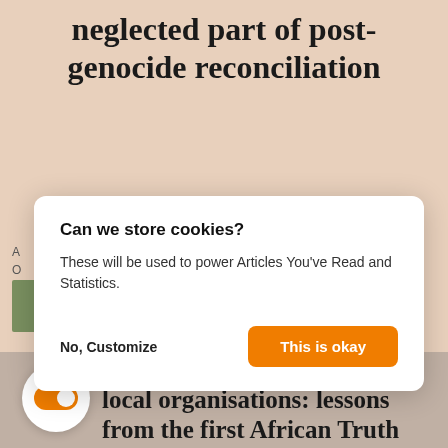neglected part of post-genocide reconciliation
Can we store cookies?

These will be used to power Articles You've Read and Statistics.

No, Customize    This is okay
No justice, no peace without local organisations: lessons from the first African Truth and Reconciliation